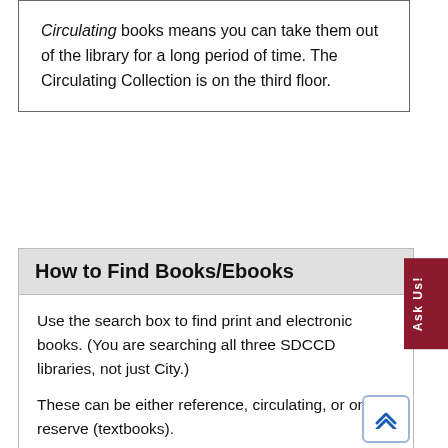Circulating books means you can take them out of the library for a long period of time. The Circulating Collection is on the third floor.
How to Find Books/Ebooks
Use the search box to find print and electronic books. (You are searching all three SDCCD libraries, not just City.)
These can be either reference, circulating, or on reserve (textbooks).